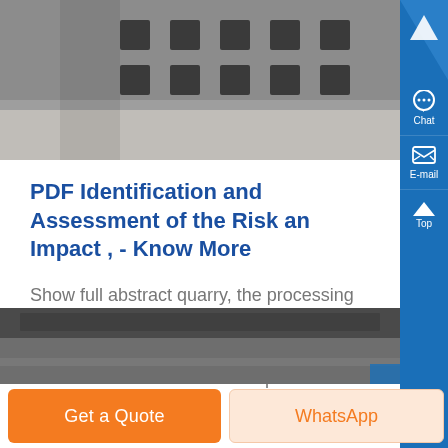[Figure (photo): Partial view of quarry or industrial processing area with concrete structures and holes visible, gray tones]
PDF Identification and Assessment of the Risk and Impact , - Know More
Show full abstract quarry, the processing plant, waste dumps and tailings ponds , the pollution sources are identified after which the risk and environmental impact identified and assessed...
[Figure (photo): Bottom strip showing industrial or quarry site, dark tones]
Get a Quote
WhatsApp